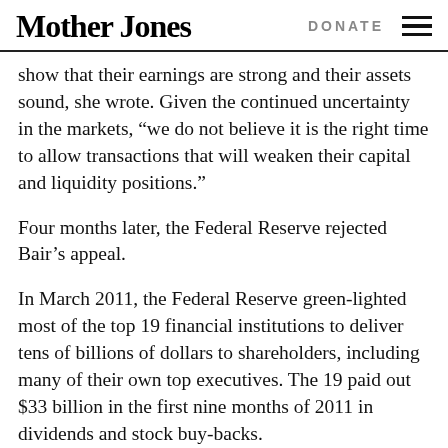Mother Jones  DONATE
show that their earnings are strong and their assets sound, she wrote. Given the continued uncertainty in the markets, “we do not believe it is the right time to allow transactions that will weaken their capital and liquidity positions.”
Four months later, the Federal Reserve rejected Bair’s appeal.
In March 2011, the Federal Reserve green-lighted most of the top 19 financial institutions to deliver tens of billions of dollars to shareholders, including many of their own top executives. The 19 paid out $33 billion in the first nine months of 2011 in dividends and stock buy-backs.